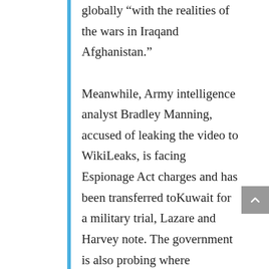globally “with the realities of the wars in Iraqand Afghanistan.” Meanwhile, Army intelligence analyst Bradley Manning, accused of leaking the video to WikiLeaks, is facing Espionage Act charges and has been transferred toKuwait for a military trial, Lazare and Harvey note. The government is also probing where WikiLeaks got the 90,000 secret U.S. military documents fromAfghanistan it released late last month. These reports, according to The